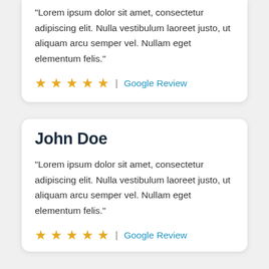“Lorem ipsum dolor sit amet, consectetur adipiscing elit. Nulla vestibulum laoreet justo, ut aliquam arcu semper vel. Nullam eget elementum felis.”
★ ★ ★ ★ ★ | Google Review
John Doe
“Lorem ipsum dolor sit amet, consectetur adipiscing elit. Nulla vestibulum laoreet justo, ut aliquam arcu semper vel. Nullam eget elementum felis.”
★ ★ ★ ★ ★ | Google Review